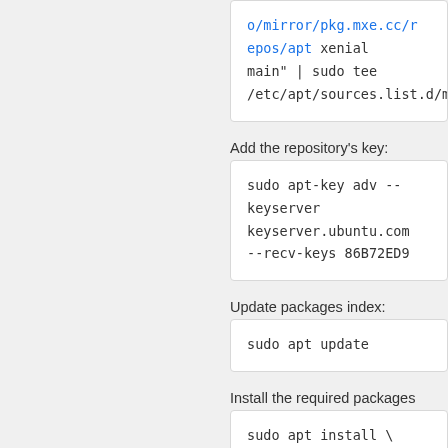o/mirror/pkg.mxe.cc/repos/apt xenial main" | sudo tee /etc/apt/sources.list.d/m
Add the repository's key:
sudo apt-key adv --keyserver keyserver.ubuntu.com --recv-keys 86B72ED9
Update packages index:
sudo apt update
Install the required packages
sudo apt install \
        mxe-${ARCH}-